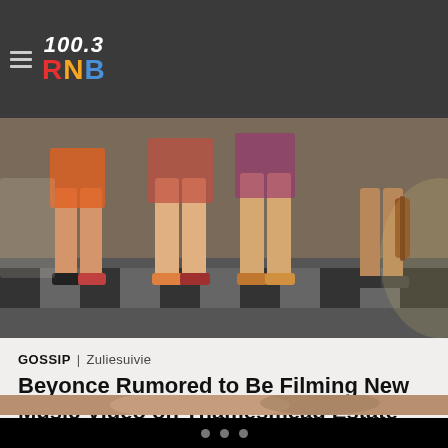100.3 RNB
[Figure (photo): Partial view of people's legs in colorful outfits, appearing to be dancers or performers on a stage with a checkered floor]
GOSSIP | Zuliesuivie
Beyonce Rumored to Be Filming New Music Video on Thamesmead Estate
London is the backdrop for Beyonce's new video according to MailOnline.com. The 38-year-old is reportedly filming near Catford and Thamesmead in South East London. A casting call went out seeking "black and brown people of different cultures, nationalities, ethnicities, genders, and ages."
[Figure (photo): Partial view of a woman's face, cropped at the bottom of the page]